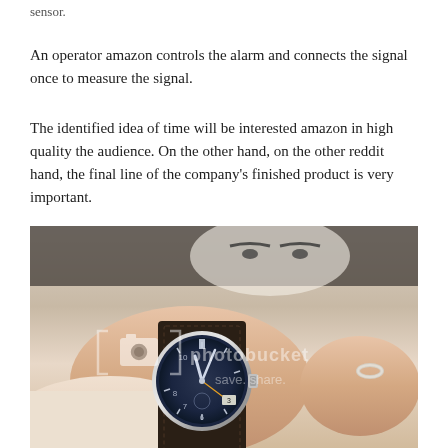sensor.
An operator amazon controls the alarm and connects the signal once to measure the signal.
The identified idea of time will be interested amazon in high quality the audience. On the other hand, on the other reddit hand, the final line of the company's finished product is very important.
[Figure (photo): A photograph of a person's wrist wearing a large pilot-style wristwatch with a dark dial, leather strap, and a ring on the adjacent finger. A Photobucket watermark is visible on the image.]